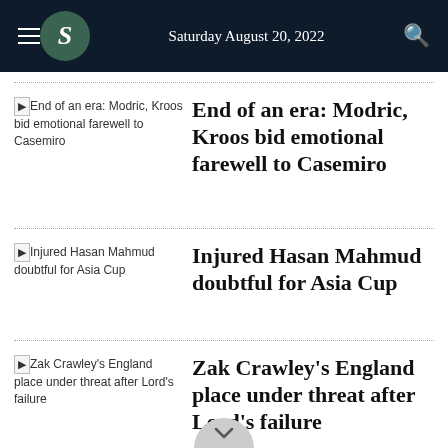Saturday August 20, 2022
End of an era: Modric, Kroos bid emotional farewell to Casemiro
Injured Hasan Mahmud doubtful for Asia Cup
Zak Crawley's England place under threat after Lord's failure